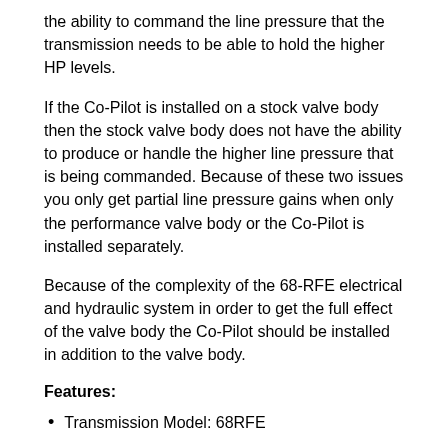the ability to command the line pressure that the transmission needs to be able to hold the higher HP levels.
If the Co-Pilot is installed on a stock valve body then the stock valve body does not have the ability to produce or handle the higher line pressure that is being commanded. Because of these two issues you only get partial line pressure gains when only the performance valve body or the Co-Pilot is installed separately.
Because of the complexity of the 68-RFE electrical and hydraulic system in order to get the full effect of the valve body the Co-Pilot should be installed in addition to the valve body.
Features:
Transmission Model: 68RFE
Engine Manufacturer: Cummins